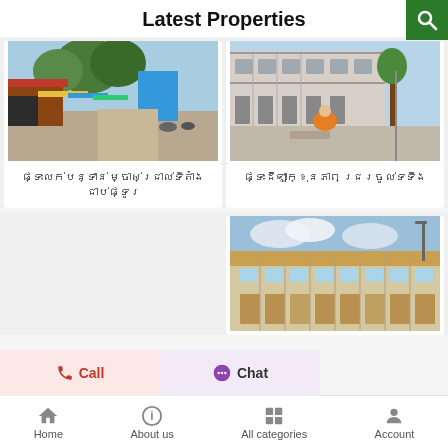Latest Properties
[Figure (photo): Street market scene with trees and stalls]
[Figure (photo): Row of under-construction shophouses with worker in foreground]
ផ្ទះលក់បន្ទាន់ ម្ចាស់ជ្រាល់ទីតាំង ជាប់ផ្ទូរ
ផ្ទះដឹឡាក្ខុនភាព ជ្ររចូល់ទទឹង
[Figure (photo): Modern townhouse row under blue sky]
Call
Chat
Home   About us   All categories   Account